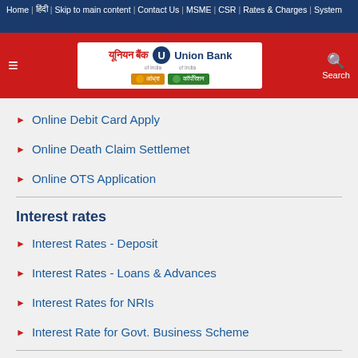Home | हिंदी | Skip to main content | Contact Us | MSME | CSR | Rates & Charges | System
[Figure (logo): Union Bank of India logo with Hindi name यूनियन बैंक, circular U emblem, English text Union Bank of India, with Andhra and Corporation bank badges]
Online Debit Card Apply
Online Death Claim Settlemet
Online OTS Application
Interest rates
Interest Rates - Deposit
Interest Rates - Loans & Advances
Interest Rates for NRIs
Interest Rate for Govt. Business Scheme
Service Charges